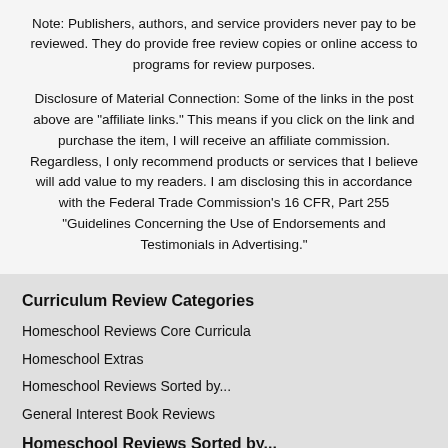Note: Publishers, authors, and service providers never pay to be reviewed. They do provide free review copies or online access to programs for review purposes.
Disclosure of Material Connection: Some of the links in the post above are "affiliate links." This means if you click on the link and purchase the item, I will receive an affiliate commission. Regardless, I only recommend products or services that I believe will add value to my readers. I am disclosing this in accordance with the Federal Trade Commission's 16 CFR, Part 255 "Guidelines Concerning the Use of Endorsements and Testimonials in Advertising."
Curriculum Review Categories
Homeschool Reviews Core Curricula
Homeschool Extras
Homeschool Reviews Sorted by...
General Interest Book Reviews
Homeschool Reviews Sorted by...